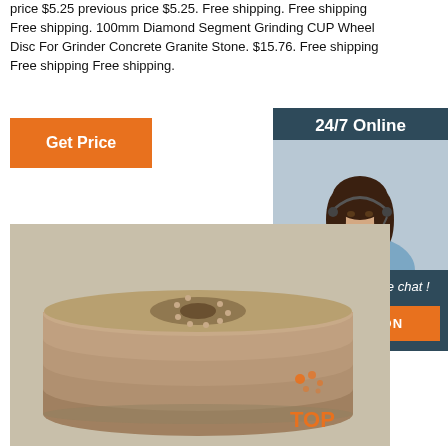price $5.25 previous price $5.25. Free shipping. Free shipping Free shipping. 100mm Diamond Segment Grinding CUP Wheel Disc For Grinder Concrete Granite Stone. $15.76. Free shipping Free shipping Free shipping.
[Figure (other): Button with orange background and white text reading 'Get Price']
[Figure (other): Sidebar with dark blue/teal background showing '24/7 Online', a photo of a customer service representative with headset, text 'Click here for free chat!' and an orange QUOTATION button]
[Figure (photo): Stack of diamond grinding wheel discs, beige/tan color, viewed from the side showing multiple discs stacked, with a TOP badge in the lower right corner]